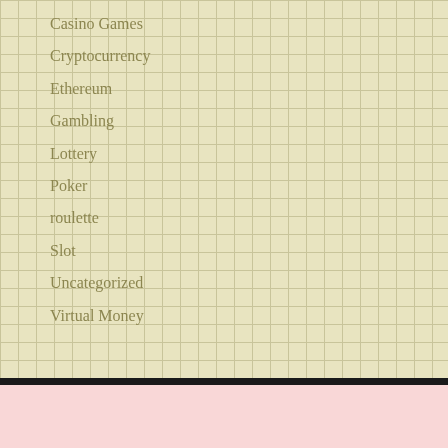Casino Games
Cryptocurrency
Ethereum
Gambling
Lottery
Poker
roulette
Slot
Uncategorized
Virtual Money